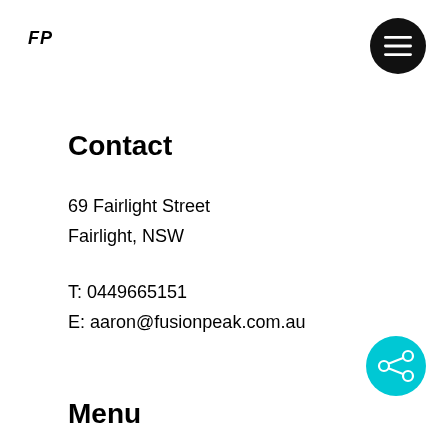FP
[Figure (other): Hamburger menu button — black circle with three white horizontal lines]
Contact
69 Fairlight Street
Fairlight, NSW
T: 0449665151
E: aaron@fusionpeak.com.au
[Figure (other): Share button — teal/cyan circle with share icon (three dots connected by lines)]
Menu